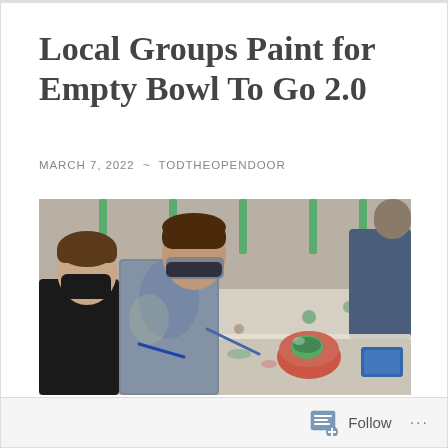Local Groups Paint for Empty Bowl To Go 2.0
MARCH 7, 2022 ~ TODTHEOPENDOOR
[Figure (photo): Two children wearing face masks painting a ceramic bowl on a table covered with a paint-splattered cloth. Paint supplies and a blue paint tray are visible on the table. Other students and chairs are visible in the background of what appears to be a school or community room.]
Follow ...